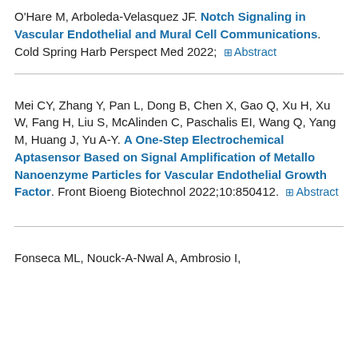O'Hare M, Arboleda-Velasquez JF. Notch Signaling in Vascular Endothelial and Mural Cell Communications. Cold Spring Harb Perspect Med 2022;  ⊞ Abstract
Mei CY, Zhang Y, Pan L, Dong B, Chen X, Gao Q, Xu H, Xu W, Fang H, Liu S, McAlinden C, Paschalis EI, Wang Q, Yang M, Huang J, Yu A-Y. A One-Step Electrochemical Aptasensor Based on Signal Amplification of Metallo Nanoenzyme Particles for Vascular Endothelial Growth Factor. Front Bioeng Biotechnol 2022;10:850412.  ⊞ Abstract
Fonseca ML, Nouck-A-Nwal A, Ambrosio I,